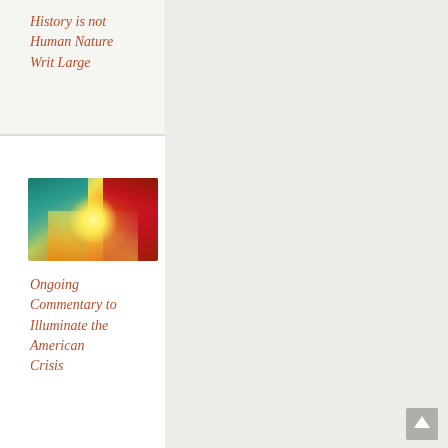History is not Human Nature Writ Large
[Figure (illustration): Fantasy illustration of two dragons — a teal/green dragon on the left and a red dragon on the right — facing each other with a bright glowing light between them, swirling colors of teal, yellow, orange, and red]
Ongoing Commentary to Illuminate the American Crisis